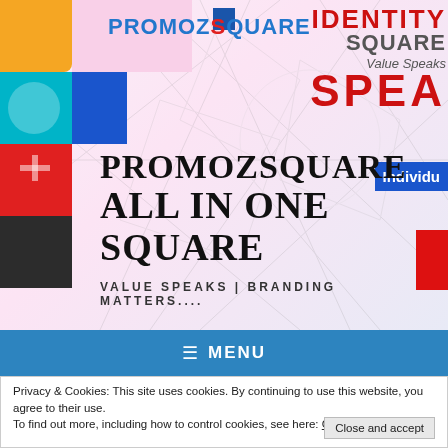[Figure (screenshot): PromoZSquare website screenshot showing colorful puzzle/icon area on left, IDENTITY SQUARE and SPEA text on right, geometric wireframe background, and main headline PROMOZSQUARE ALL IN ONE SQUARE]
PROMOZSQUARE
ALL IN ONE SQUARE
VALUE SPEAKS | BRANDING MATTERS....
≡ MENU
Privacy & Cookies: This site uses cookies. By continuing to use this website, you agree to their use.
To find out more, including how to control cookies, see here: Cookie Policy